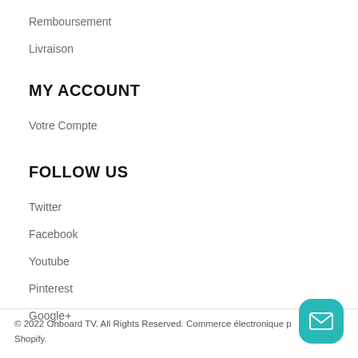Remboursement
Livraison
MY ACCOUNT
Votre Compte
FOLLOW US
Twitter
Facebook
Youtube
Pinterest
Google+
© 2022 Onboard TV. All Rights Reserved. Commerce électronique p... Shopify.